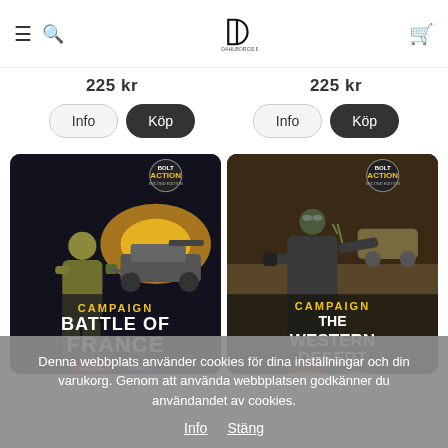Dahlborgs Battles – navigation header with menu, search, logo, cart
225 kr
225 kr
Info  Köp  Info  Köp
[Figure (illustration): Bolt Action Second Edition – Campaign: Battle of France book cover. Shows a WWII soldier in khaki uniform on a dark background with combat scene. Yellow and white title text.]
[Figure (illustration): Bolt Action Second Edition – Campaign: The Western Desert book cover. Shows a WWII German officer in long coat pointing, desert vehicle in background. Yellow and white title text.]
Denna webbplats använder cookies för dina inställningar och din varukorg. Genom att använda webbplatsen godkänner du användandet av cookies.
Info  Stäng